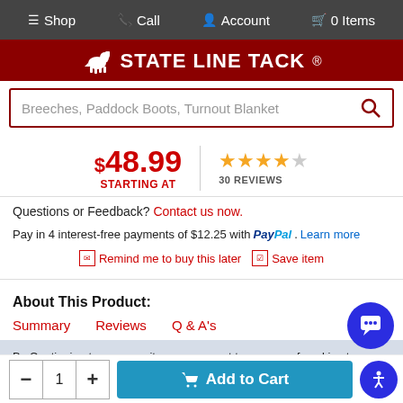Shop  Call  Account  0 Items
[Figure (logo): State Line Tack logo with horse on dark red background]
Breeches, Paddock Boots, Turnout Blanket (search bar placeholder)
$48.99 STARTING AT  ★★★★☆ 30 REVIEWS
Questions or Feedback? Contact us now.
Pay in 4 interest-free payments of $12.25 with PayPal. Learn more
Remind me to buy this later  Save item
About This Product:
Summary  Reviews  Q & A's
By Continuing to use our site, you consent to our use of cookies to improve your experience. Learn more
- 1 +  Add to Cart